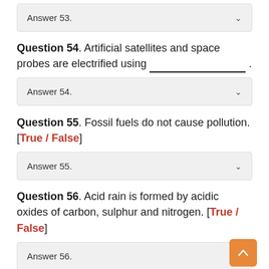Answer 53.
Question 54. Artificial satellites and space probes are electrified using _______________ .
Answer 54.
Question 55. Fossil fuels do not cause pollution. [True / False]
Answer 55.
Question 56. Acid rain is formed by acidic oxides of carbon, sulphur and nitrogen. [True / False]
Answer 56.